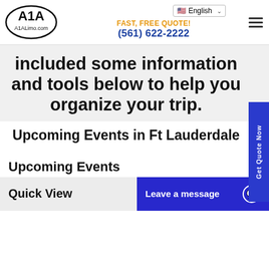[Figure (logo): A1A A1ALimo.com oval logo]
English
FAST, FREE QUOTE!
(561) 622-2222
included some information and tools below to help you organize your trip.
Upcoming Events in Ft Lauderdale
Get Quote Now
Upcoming Events
Quick View
Leave a message